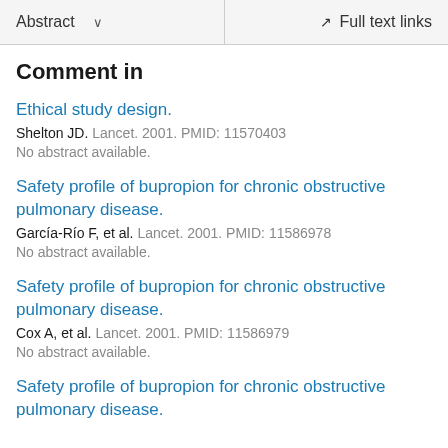Abstract  ∨   Full text links
Comment in
Ethical study design.
Shelton JD. Lancet. 2001. PMID: 11570403
No abstract available.
Safety profile of bupropion for chronic obstructive pulmonary disease.
García-Río F, et al. Lancet. 2001. PMID: 11586978
No abstract available.
Safety profile of bupropion for chronic obstructive pulmonary disease.
Cox A, et al. Lancet. 2001. PMID: 11586979
No abstract available.
Safety profile of bupropion for chronic obstructive pulmonary disease.